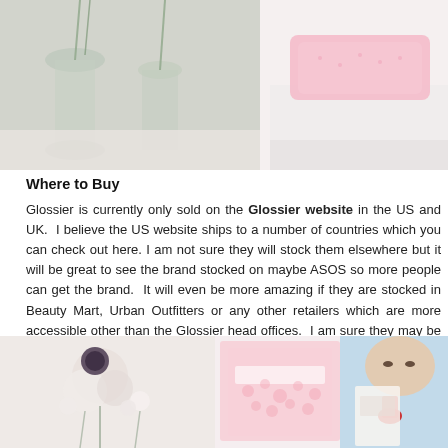[Figure (photo): Top portion showing pink pillow/cushion on white surface with glass vases in background, soft pink tones]
Where to Buy
Glossier is currently only sold on the Glossier website in the US and UK. I believe the US website ships to a number of countries which you can check out here. I am not sure they will stock them elsewhere but it will be great to see the brand stocked on maybe ASOS so more people can get the brand. It will even be more amazing if they are stocked in Beauty Mart, Urban Outfitters or any other retailers which are more accessible other than the Glossier head offices. I am sure they may be planning something soon for the UK (I know they had pop up shops in the UK last year).
[Figure (photo): Bottom collage photo showing white flowers/bouquet on left side, pink Glossier packaging in middle, and woman holding Glossier product on right side]